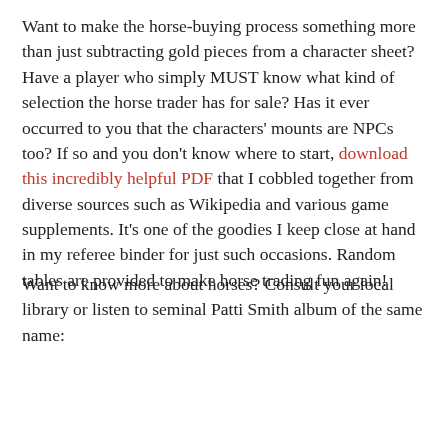Want to make the horse-buying process something more than just subtracting gold pieces from a character sheet? Have a player who simply MUST know what kind of selection the horse trader has for sale? Has it ever occurred to you that the characters' mounts are NPCs too? If so and you don't know where to start, download this incredibly helpful PDF that I cobbled together from diverse sources such as Wikipedia and various game supplements. It's one of the goodies I keep close at hand in my referee binder for just such occasions. Random tables are provided to make horse trading fun again!
Want to know more about horses? Consult your local library or listen to seminal Patti Smith album of the same name: